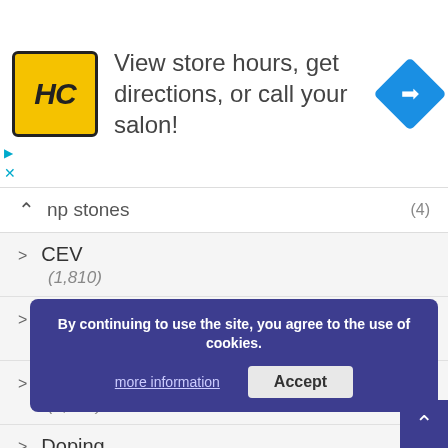[Figure (infographic): Advertisement banner for Hair Club (HC) with yellow logo, text 'View store hours, get directions, or call your salon!', and a blue navigation/directions diamond icon]
np stones (4)
CEV (1,810)
Did You Know? (1,290)
Done deals (3,602)
Doping (2)
Education (3)
Europe (1)
By continuing to use the site, you agree to the use of cookies. more information Accept